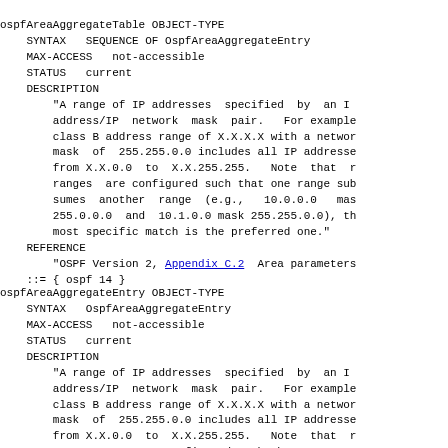ospfAreaAggregateTable OBJECT-TYPE
    SYNTAX   SEQUENCE OF OspfAreaAggregateEntry
    MAX-ACCESS   not-accessible
    STATUS   current
    DESCRIPTION
        "A range of IP addresses  specified  by  an I
        address/IP  network  mask  pair.   For example
        class B address range of X.X.X.X with a networ
        mask  of  255.255.0.0 includes all IP addresse
        from X.X.0.0  to  X.X.255.255.   Note  that  r
        ranges  are configured such that one range sub
        sumes  another  range  (e.g.,   10.0.0.0   mas
        255.0.0.0  and  10.1.0.0 mask 255.255.0.0), th
        most specific match is the preferred one."
    REFERENCE
        "OSPF Version 2, Appendix C.2  Area parameters
    ::= { ospf 14 }
ospfAreaAggregateEntry OBJECT-TYPE
    SYNTAX   OspfAreaAggregateEntry
    MAX-ACCESS   not-accessible
    STATUS   current
    DESCRIPTION
        "A range of IP addresses  specified  by  an I
        address/IP  network  mask  pair.   For example
        class B address range of X.X.X.X with a networ
        mask  of  255.255.0.0 includes all IP addresse
        from X.X.0.0  to  X.X.255.255.   Note  that  r
        ranges are range configured such that one rang